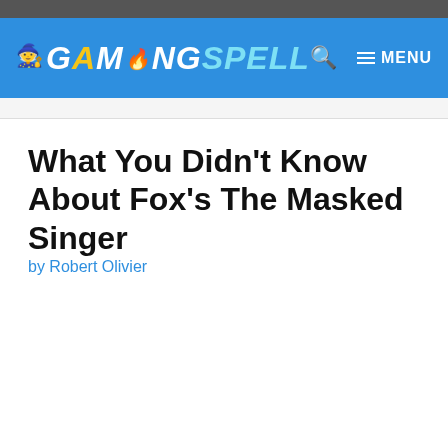GAMINGSPELL — MENU
What You Didn't Know About Fox's The Masked Singer
by Robert Olivier